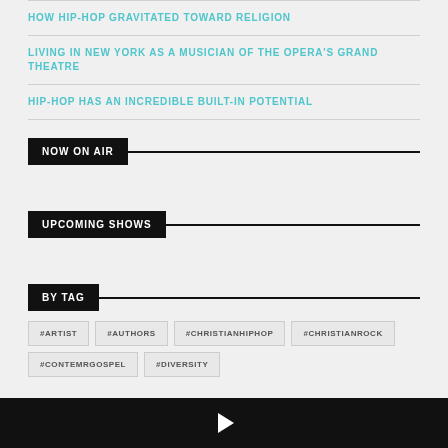HOW HIP-HOP GRAVITATED TOWARD RELIGION
LIVING IN NEW YORK AS A MUSICIAN OF THE OPERA'S GRAND THEATRE
HIP-HOP HAS AN INCREDIBLE BUILT-IN POTENTIAL
NOW ON AIR
UPCOMING SHOWS
BY TAG
#ARTIST
#AUTHORS
#CHRISTIANHIPHOP
#CHRISTIANROCK
#CONTEMRGOSPEL
#DIVERSITY